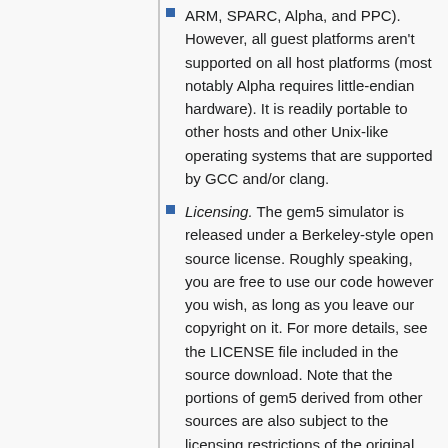ARM, SPARC, Alpha, and PPC). However, all guest platforms aren't supported on all host platforms (most notably Alpha requires little-endian hardware). It is readily portable to other hosts and other Unix-like operating systems that are supported by GCC and/or clang.
Licensing. The gem5 simulator is released under a Berkeley-style open source license. Roughly speaking, you are free to use our code however you wish, as long as you leave our copyright on it. For more details, see the LICENSE file included in the source download. Note that the portions of gem5 derived from other sources are also subject to the licensing restrictions of the original sources.
Documentation
There are several sources of documentation for gem5:
The most detailed and up-to-date documentation is on this wiki. The